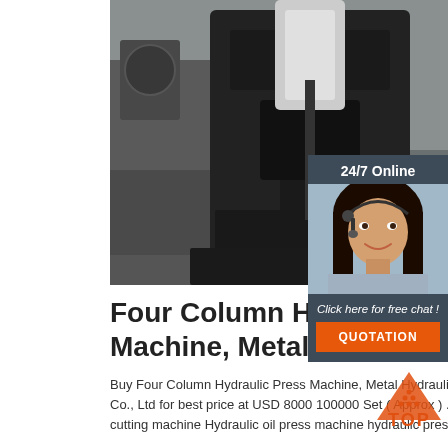[Figure (photo): Industrial hydraulic press machine in a factory setting, showing a large black four-column hydraulic press machine and a blue hydraulic press machine in the background]
[Figure (photo): 24/7 online customer support agent - woman wearing headset smiling, with dark hair, in a dark navy sidebar panel]
24/7 Online
Click here for free chat !
QUOTATION
Four Column Hydraulic Pre... Machine, Metal Hydraulic
Buy Four Column Hydraulic Press Machine, Metal Hydraulic Press Machine from Anhui Huyin Machine Tool Manufacturing Co., Ltd for best price at USD 8000 100000 Set ( Approx ) . ... hydraulic metal stamping press machine hydraulic press cutting machine Hydraulic oil press machine hydraulic pressing machine Hydraulic press machine 100 ton - 400...
[Figure (logo): TOP logo - orange/red triangular logo with text TOP]